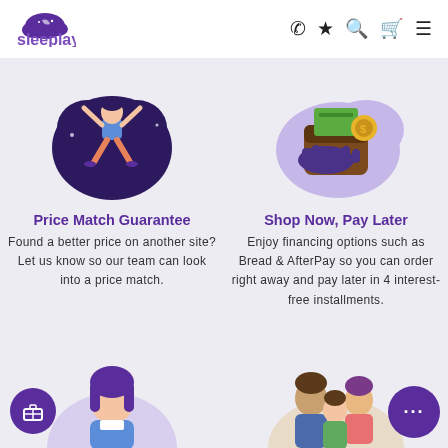[Figure (logo): Sleeplay logo with purple cloud/sleep icon and purple text]
☎ ★ 🔍 🛒 ≡
[Figure (illustration): Woman jumping with arms up against a dark purple heart/cloud shape]
[Figure (illustration): Hands holding a wallet with money and coins against a light purple blob shape]
Price Match Guarantee
Shop Now, Pay Later
Found a better price on another site? Let us know so our team can look into a price match.
Enjoy financing options such as Bread & AfterPay so you can order right away and pay later in 4 interest-free installments.
[Figure (illustration): Partially visible illustration of a woman with purple hair at bottom left]
[Figure (illustration): Partially visible illustration of a family group at bottom right]